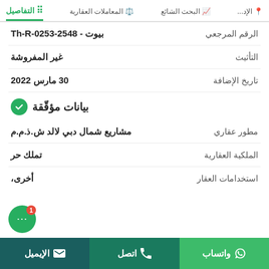التفاصيل | المعاملات العقارية | البحث الشائع | الإد...
| الحقل | القيمة |
| --- | --- |
| الرقم المرجعي | بيوت - Th-R-0253-2548 |
| التأثيث | غير المفروشة |
| تاريخ الإضافة | 30 مارس 2022 |
بيانات مؤقتة ✓
| الحقل | القيمة |
| --- | --- |
| مطور عقاري | مشاريع شمال دبي لالد ش.ذ.م.م |
| الملكية العقارية | تملك حر |
| استخدامات العقار | أخرى، |